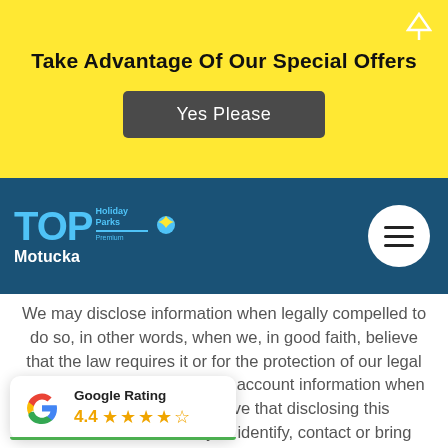Take Advantage Of Our Special Offers
Yes Please
[Figure (logo): TOP 10 Holiday Parks Premium Motucka logo on dark blue navigation bar with hamburger menu circle]
We may disclose information when legally compelled to do so, in other words, when we, in good faith, believe that the law requires it or for the protection of our legal rights. We may also disclose account information when we have reason to believe that disclosing this information is necessary to identify, contact or bring legal action against someone who may be violating our policies or to protect the safety of our users and the Public.
[Figure (infographic): Google Rating popup showing 4.4 stars with Google G logo]